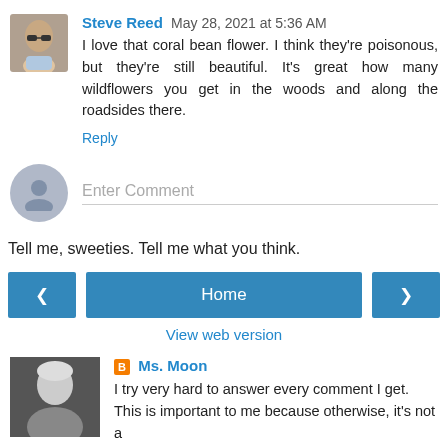Steve Reed  May 28, 2021 at 5:36 AM
I love that coral bean flower. I think they're poisonous, but they're still beautiful. It's great how many wildflowers you get in the woods and along the roadsides there.
Reply
[Figure (photo): Avatar photo of Steve Reed, a bald man with sunglasses]
Enter Comment
[Figure (illustration): Generic grey silhouette avatar icon]
Tell me, sweeties. Tell me what you think.
< Home > View web version
Ms. Moon
I try very hard to answer every comment I get. This is important to me because otherwise, it's not a
[Figure (photo): Avatar photo of Ms. Moon]